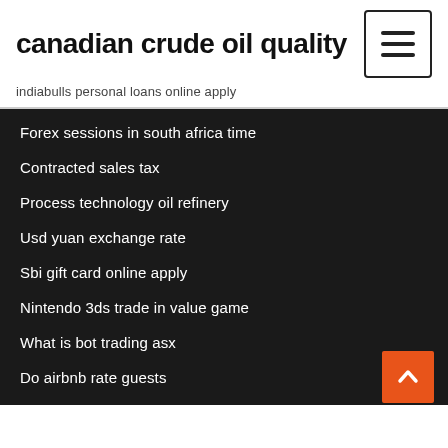canadian crude oil quality
indiabulls personal loans online apply
Forex sessions in south africa time
Contracted sales tax
Process technology oil refinery
Usd yuan exchange rate
Sbi gift card online apply
Nintendo 3ds trade in value game
What is bot trading asx
Do airbnb rate guests
How to calculate fibonacci retracement
Stock dividend payable classification